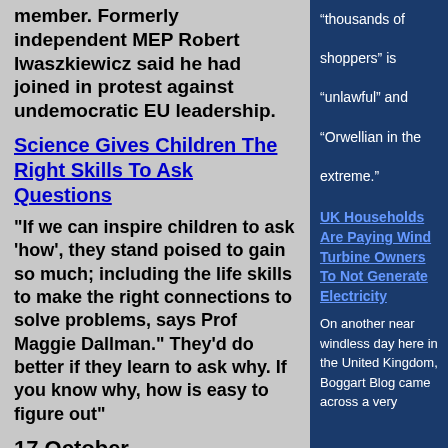member. Formerly independent MEP Robert Iwaszkiewicz said he had joined in protest against undemocratic EU leadership.
Science Gives Children The Right Skills To Ask Questions
"If we can inspire children to ask 'how', they stand poised to gain so much; including the life skills to make the right connections to solve problems, says Prof Maggie Dallman." They'd do better if they learn to ask why. If you know why, how is easy to figure out"
17 October
“thousands of shoppers” is “unlawful” and “Orwellian in the extreme.”
UK Households Are Paying Wind Turbine Owners To Not Generate Electricity
On another near windless day here in the United Kingdom, Boggart Blog came across a very